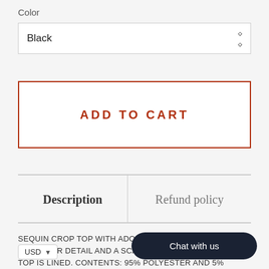Color
Black
ADD TO CART
Description
Refund policy
SEQUIN CROP TOP WITH ADORABLE VEI... SHOULDER DETAIL AND A SCALLOPED ... ER. TOP IS LINED. CONTENTS: 95% POLYESTER AND 5% SPANDEX.
USD
Chat with us